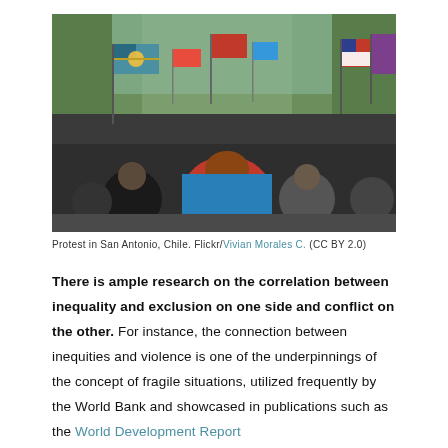[Figure (photo): Protest in San Antonio, Chile. A crowd of protesters carrying various flags including the Mapuche flag and Chilean flags, marching down a tree-lined street.]
Protest in San Antonio, Chile. Flickr/Vivian Morales C. (CC BY 2.0)
There is ample research on the correlation between inequality and exclusion on one side and conflict on the other. For instance, the connection between inequities and violence is one of the underpinnings of the concept of fragile situations, utilized frequently by the World Bank and showcased in publications such as the World Development Report